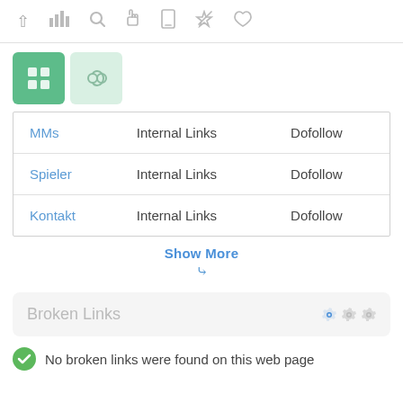[Figure (screenshot): Toolbar with navigation icons: up arrow, bar chart, search, hand/pointer, mobile, send/navigation, thumbs up]
[Figure (screenshot): Two icon buttons: active green grid/settings icon and a lighter green chain/link icon]
| MMs | Internal Links | Dofollow |
| Spieler | Internal Links | Dofollow |
| Kontakt | Internal Links | Dofollow |
Show More
Broken Links
No broken links were found on this web page